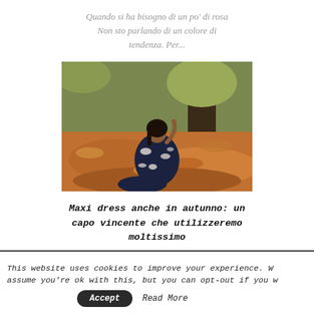Quando si ha bisogno di un po' di rosa
Non sto parlando di un colore di tendenza. Per...
[Figure (photo): A woman in a floral dress sitting on autumn leaves in a park, looking upward, with trees in the background]
Maxi dress anche in autunno: un capo vincente che utilizzeremo moltissimo
This website uses cookies to improve your experience. We'll assume you're ok with this, but you can opt-out if you wish.
Accept   Read More